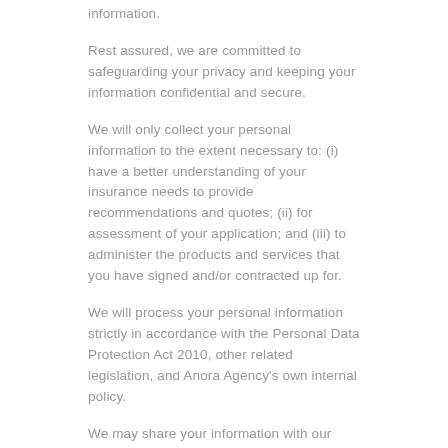information.
Rest assured, we are committed to safeguarding your privacy and keeping your information confidential and secure.
We will only collect your personal information to the extent necessary to: (i) have a better understanding of your insurance needs to provide recommendations and quotes; (ii) for assessment of your application; and (iii) to administer the products and services that you have signed and/or contracted up for.
We will process your personal information strictly in accordance with the Personal Data Protection Act 2010, other related legislation, and Anora Agency's own internal policy.
We may share your information with our affiliated companies for the purpose of fulfilling your requests and better servicing